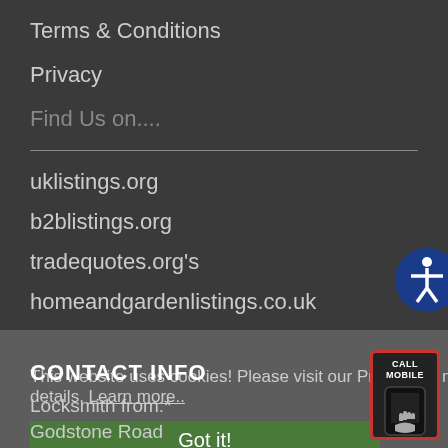Terms & Conditions
Privacy
Find Us on....
uklistings.org
b2blistings.org
tradequotes.org's
homeandgardenlistings.co.uk
This website uses cookies! Please visit our Privacy for more details. Learn more..
CONTACT INFO
Locksmith from:* Godstone Road Kenley Surrey CR8 5AA